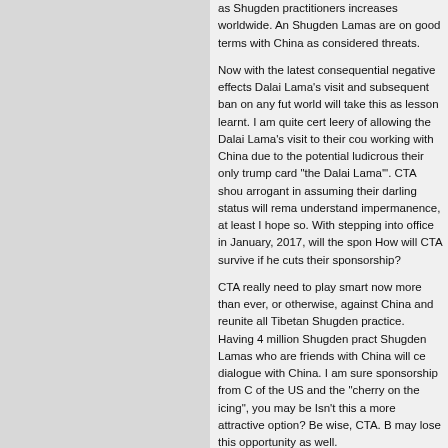as Shugden practitioners increases worldwide. And Shugden Lamas are on good terms with China as considered threats.

Now with the latest consequential negative effects Dalai Lama's visit and subsequent ban on any fut world will take this as lesson learnt. I am quite cert leery of allowing the Dalai Lama's visit to their cou working with China due to the potential ludicrous their only trump card "the Dalai Lama'". CTA shou arrogant in assuming their darling status will rema understand impermanence, at least I hope so. With stepping into office in January, 2017, will the spon How will CTA survive if he cuts their sponsorship?

CTA really need to play smart now more than ever, or otherwise, against China and reunite all Tibetan Shugden practice. Having 4 million Shugden pract Shugden Lamas who are friends with China will ce dialogue with China. I am sure sponsorship from C of the US and the "cherry on the icing", you may be Isn't this a more attractive option? Be wise, CTA. B may lose this opportunity as well.
Reply